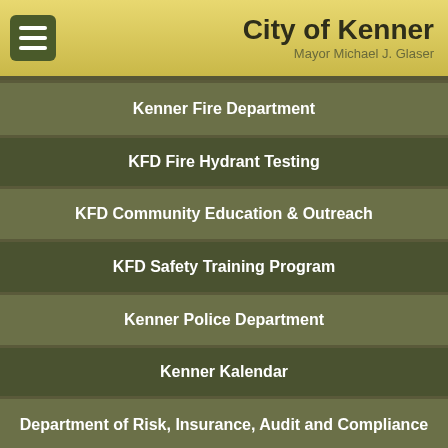City of Kenner — Mayor Michael J. Glaser
Kenner Fire Department
KFD Fire Hydrant Testing
KFD Community Education & Outreach
KFD Safety Training Program
Kenner Police Department
Kenner Kalendar
Department of Risk, Insurance, Audit and Compliance
Municipal Fire & Police Civil Service Board